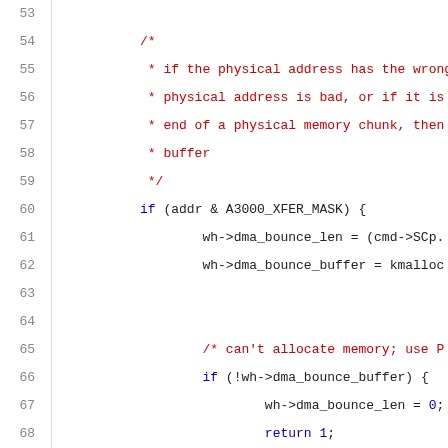Source code listing, lines 53-74, showing C code with DMA bounce buffer handling logic